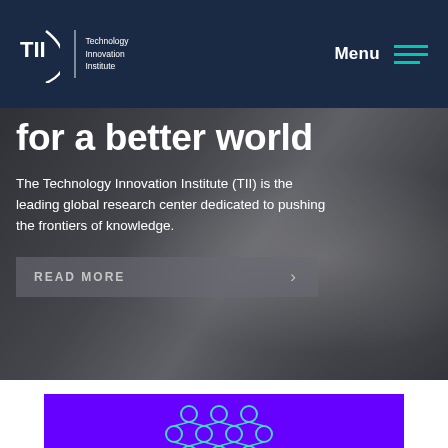[Figure (screenshot): TII (Technology Innovation Institute) website screenshot showing navigation bar with dark blue background, TII logo, and hamburger menu with 'Menu' text]
for a better world
The Technology Innovation Institute (TII) is the leading global research center dedicated to pushing the frontiers of knowledge.
READ MORE
[Figure (illustration): Purple/violet section with a network/molecule diagram illustration made of connected circles in teal/cyan color]